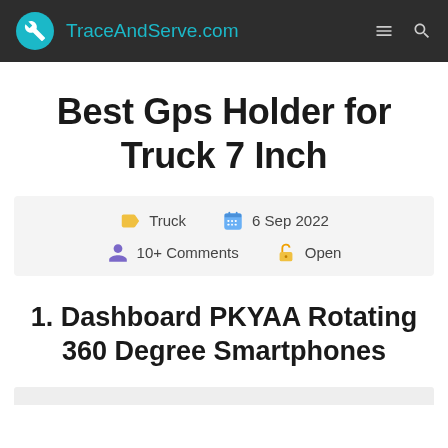TraceAndServe.com
Best Gps Holder for Truck 7 Inch
Truck | 6 Sep 2022 | 10+ Comments | Open
1. Dashboard PKYAA Rotating 360 Degree Smartphones